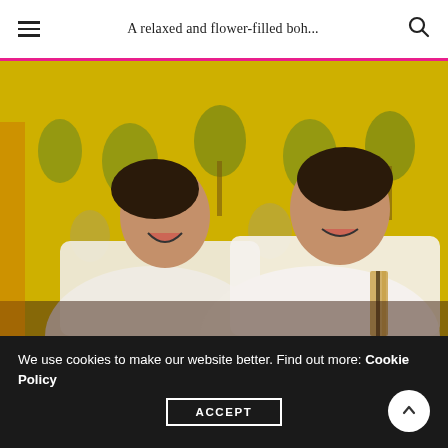A relaxed and flower-filled boh...
[Figure (photo): Two women in white wedding dresses sitting and laughing together in front of a vivid yellow tropical palm tree patterned wallpaper. One holds what appears to be a stringed instrument.]
We use cookies to make our website better. Find out more: Cookie Policy
ACCEPT